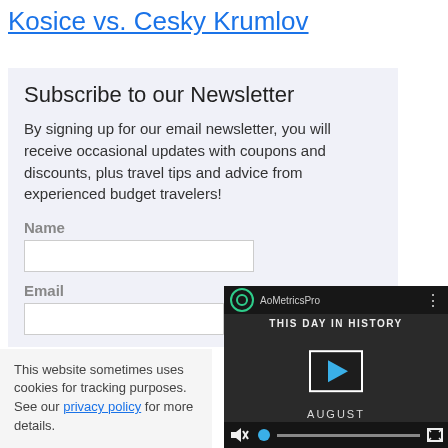Kosice vs. Cesky Krumlov
Subscribe to our Newsletter
By signing up for our email newsletter, you will receive occasional updates with coupons and discounts, plus travel tips and advice from experienced budget travelers!
Name
Email
This website sometimes uses cookies for tracking purposes. See our privacy policy for more details.
[Figure (screenshot): Embedded video player showing 'This Day in History' with play button, mute controls, and progress bar. Month shown: AUGUST.]